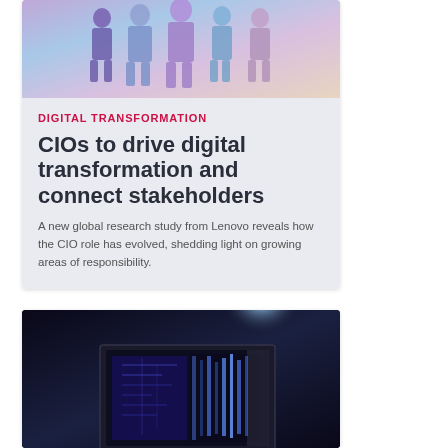[Figure (photo): Multiple silhouettes of people overlaid with colorful digital/city imagery — Lenovo CIO article hero image]
DIGITAL TRANSFORMATION
CIOs to drive digital transformation and connect stakeholders
A new global research study from Lenovo reveals how the CIO role has evolved, shedding light on growing areas of responsibility.
[Figure (photo): Dark moody image of a computer monitor displaying digital/circuit-board imagery with bright glowing light in the background]